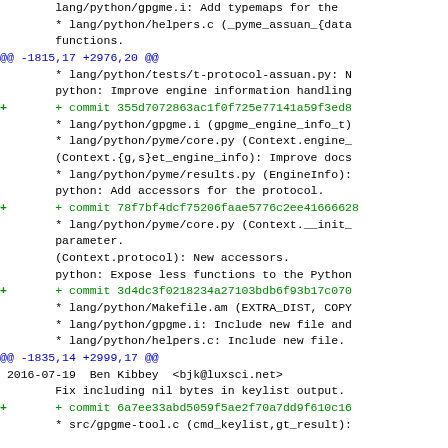lang/python/gpgme.i: Add typemaps for the
* lang/python/helpers.c (_pyme_assuan_{data
functions.
@@ -1815,17 +2976,20 @@
* lang/python/tests/t-protocol-assuan.py: N
python: Improve engine information handling
+ commit 355d7072863ac1f0f725e77141a59f3ed8
* lang/python/gpgme.i (gpgme_engine_info_t)
* lang/python/pyme/core.py (Context.engine_
(Context.{g,s}et_engine_info): Improve docs
* lang/python/pyme/results.py (EngineInfo):
python: Add accessors for the protocol.
+ commit 78f7bf4dcf75206faae5776c2ee41666628
* lang/python/pyme/core.py (Context.__init_
parameter.
(Context.protocol): New accessors.
python: Expose less functions to the Python
+ commit 3d4dc3f0218234a27103bdb6f93b17c070
* lang/python/Makefile.am (EXTRA_DIST, COPY
* lang/python/gpgme.i: Include new file and
* lang/python/helpers.c: Include new file.
@@ -1835,14 +2999,17 @@
2016-07-19  Ben Kibbey  <bjk@luxsci.net>
Fix including nil bytes in keylist output.
+ commit 6a7ee33abd5059f5ae2f70a7dd9f610c16
* src/gpgme-tool.c (cmd_keylist,gt_result):